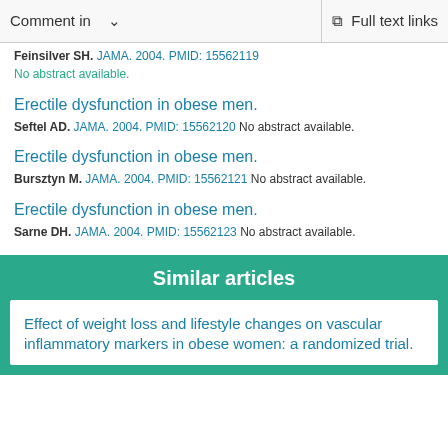Comment in   ∨   Full text links
Feinsilver SH. JAMA. 2004. PMID: 15562119
No abstract available.
Erectile dysfunction in obese men.
Seftel AD. JAMA. 2004. PMID: 15562120 No abstract available.
Erectile dysfunction in obese men.
Bursztyn M. JAMA. 2004. PMID: 15562121 No abstract available.
Erectile dysfunction in obese men.
Sarne DH. JAMA. 2004. PMID: 15562123 No abstract available.
Similar articles
Effect of weight loss and lifestyle changes on vascular inflammatory markers in obese women: a randomized trial.